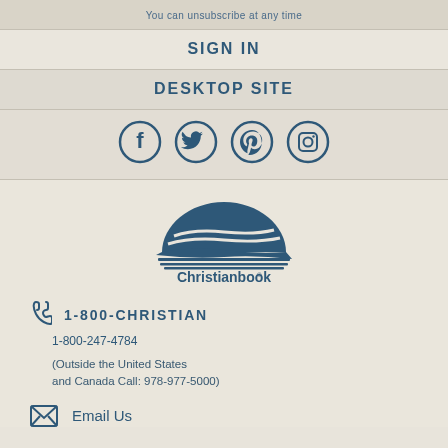You can unsubscribe at any time
SIGN IN
DESKTOP SITE
[Figure (illustration): Four circular social media icons: Facebook, Twitter, Pinterest, Instagram]
[Figure (logo): Christianbook logo with open book and wave design]
1-800-CHRISTIAN
1-800-247-4784
(Outside the United States and Canada Call: 978-977-5000)
Email Us